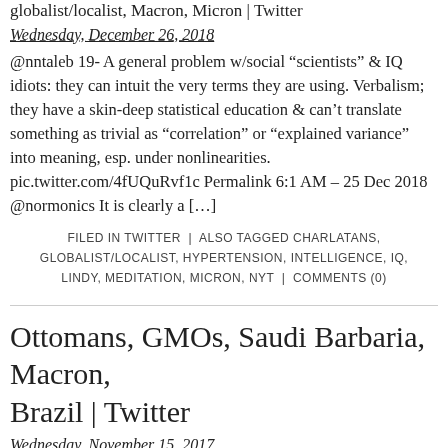globalist/localist, Macron, Micron | Twitter
Wednesday, December 26, 2018
@nntaleb 19- A general problem w/social “scientists” & IQ idiots: they can intuit the very terms they are using. Verbalism; they have a skin-deep statistical education & can’t translate something as trivial as “correlation” or “explained variance” into meaning, esp. under nonlinearities. pic.twitter.com/4fUQuRvf1c Permalink 6:1 AM – 25 Dec 2018 @normonics It is clearly a […]
FILED IN TWITTER | ALSO TAGGED CHARLATANS, GLOBALIST/LOCALIST, HYPERTENSION, INTELLIGENCE, IQ, LINDY, MEDITATION, MICRON, NYT | COMMENTS (0)
Ottomans, GMOs, Saudi Barbaria, Macron, Brazil | Twitter
Wednesday, November 15, 2017